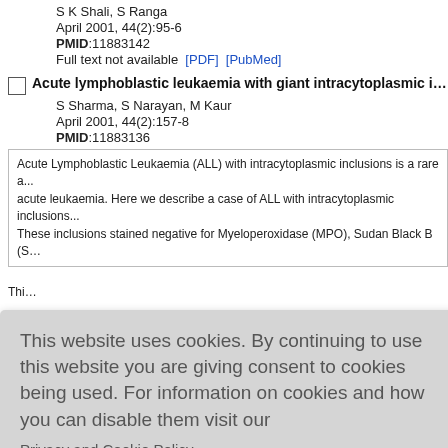S K Shali, S Ranga
April 2001, 44(2):95-6
PMID:11883142
Full text not available  [PDF]  [PubMed]
Acute lymphoblastic leukaemia with giant intracytoplasmic inclus...
S Sharma, S Narayan, M Kaur
April 2001, 44(2):157-8
PMID:11883136
Acute Lymphoblastic Leukaemia (ALL) with intracytoplasmic inclusions is a rare a... acute leukaemia. Here we describe a case of ALL with intracytoplasmic inclusions... These inclusions stained negative for Myeloperoxidase (MPO), Sudan Black B (SB... (PAS). This... cs of this su...
This website uses cookies. By continuing to use this website you are giving consent to cookies being used. For information on cookies and how you can disable them visit our
Privacy and Cookie Policy.
AGREE & PROCEED
ISSN: Print -0377-4929, Online - 0974-5130